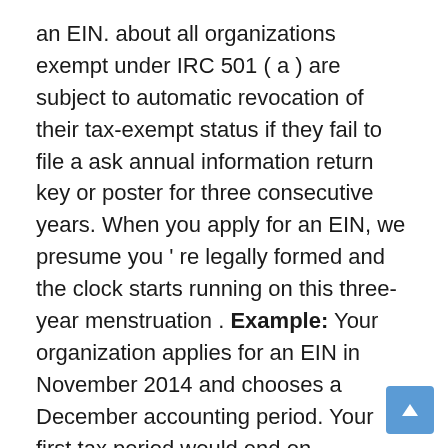an EIN. about all organizations exempt under IRC 501 ( a ) are subject to automatic revocation of their tax-exempt status if they fail to file a ask annual information return key or poster for three consecutive years. When you apply for an EIN, we presume you ' re legally formed and the clock starts running on this three-year menstruation . Example: Your organization applies for an EIN in November 2014 and chooses a December accounting period. Your first tax period would end on December 31, 2014, and your first gear return or notice ( if your administration does not meet one of the few exceptions to the annual report prerequisite ) would be ascribable May 15, 2015. You would be subject to automatic revocation of your exemption if you fail to file for the three periods that end